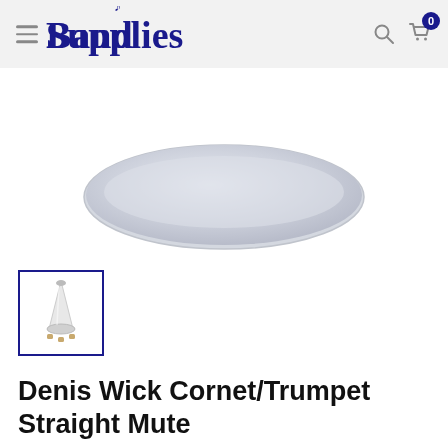Band Supplies
[Figure (photo): Top portion of a Denis Wick straight mute, showing the circular silver/aluminum base of the mute from above, with a light blue-grey color.]
[Figure (photo): Thumbnail image of the Denis Wick Cornet/Trumpet Straight Mute, showing the full mute with cork feet visible at the base.]
Denis Wick Cornet/Trumpet Straight Mute
DENIS WICK | SKU: DW5504
Size: Straight